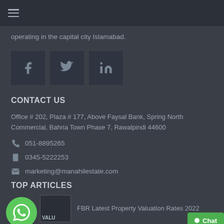operating in the capital city Islamabad.
[Figure (other): Social media icons: Facebook, Twitter, LinkedIn]
CONTACT US
Office # 202, Plaza # 177, Above Faysal Bank, Spring North Commercial, Bahria Town Phase 7, Rawalpindi 44600
051-8895265
0345-5222253
marketing@manahilestate.com
TOP ARTICLES
FBR Latest Property Valuation Rates 2022